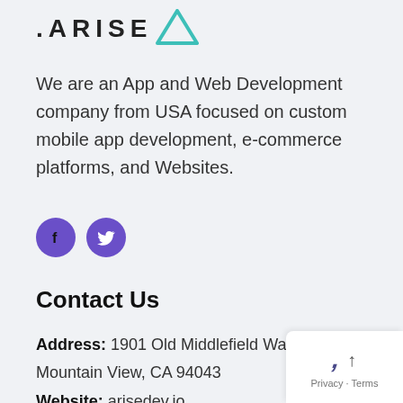[Figure (logo): ARISE logo with dot-ARISE text and teal triangle/arrow symbol]
We are an App and Web Development company from USA focused on custom mobile app development, e-commerce platforms, and Websites.
[Figure (illustration): Two purple circular social media buttons: Facebook (f icon) and Twitter (bird icon)]
Contact Us
Address:  1901 Old Middlefield Way #17 Mountain View, CA 94043
Website:  arisedev.io
Email:  hello@arisedev.io
Phone:  +1 (650) 660 3257